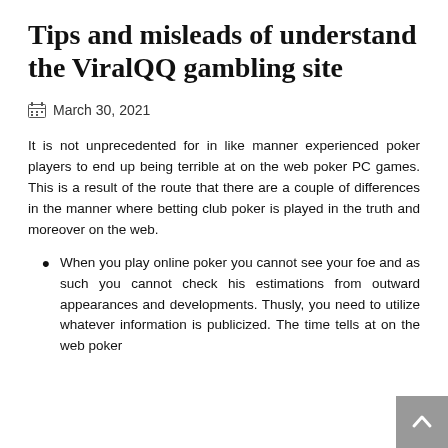Tips and misleads of understand the ViralQQ gambling site
March 30, 2021
It is not unprecedented for in like manner experienced poker players to end up being terrible at on the web poker PC games. This is a result of the route that there are a couple of differences in the manner where betting club poker is played in the truth and moreover on the web.
When you play online poker you cannot see your foe and as such you cannot check his estimations from outward appearances and developments. Thusly, you need to utilize whatever information is publicized. The time tells at on the web poker